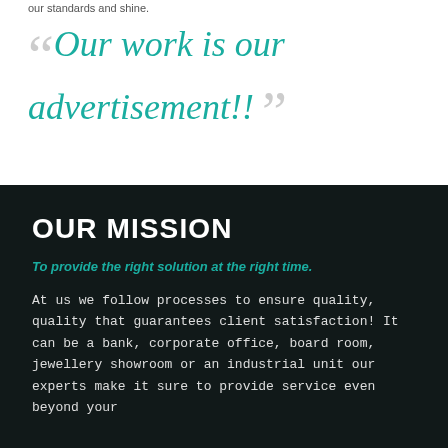our standards and shine.
“Our work is our advertisement!!”
OUR MISSION
To provide the right solution at the right time.
At us we follow processes to ensure quality, quality that guarantees client satisfaction! It can be a bank, corporate office, board room, jewellery showroom or an industrial unit our experts make it sure to provide service even beyond your